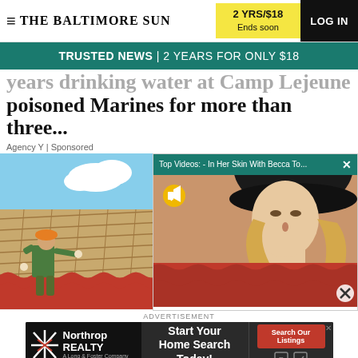THE BALTIMORE SUN | 2 YRS/$18 Ends soon | LOG IN
TRUSTED NEWS | 2 YEARS FOR ONLY $18
years drinking water at Camp Lejeune poisoned Marines for more than three...
Agency Y | Sponsored
[Figure (screenshot): Top Videos popup: In Her Skin With Becca To... - shows woman with blonde hair and black hat on tan background, with mute icon overlay. Below is a red roof tile image with X close button.]
[Figure (photo): Worker in green clothes and orange hard hat installing red roofing tiles on a roof structure with sky and clouds in background.]
ADVERTISEMENT
[Figure (infographic): Northrop Realty advertisement: Start Your Home Search Today! Search Our Listings button. A Long & Foster Company.]